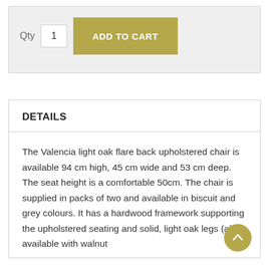[Figure (screenshot): Add to cart UI section with Qty label, quantity input box showing '1', and an olive/gold 'ADD TO CART' button on a light grey background]
DETAILS
The Valencia light oak flare back upholstered chair is available 94 cm high, 45 cm wide and 53 cm deep. The seat height is a comfortable 50cm. The chair is supplied in packs of two and available in biscuit and grey colours. It has a hardwood framework supporting the upholstered seating and solid, light oak legs (also available with walnut